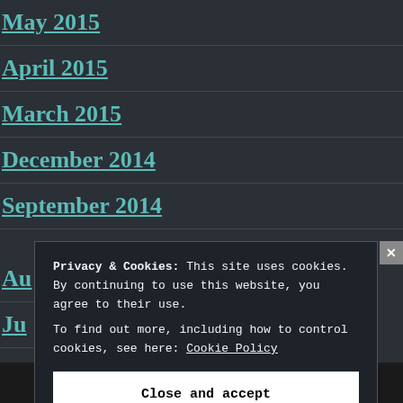May 2015
April 2015
March 2015
December 2014
September 2014
Au[gust 2014]
Ju[ly 2014]
Ju[ne 2014]
Privacy & Cookies: This site uses cookies. By continuing to use this website, you agree to their use. To find out more, including how to control cookies, see here: Cookie Policy
Close and accept